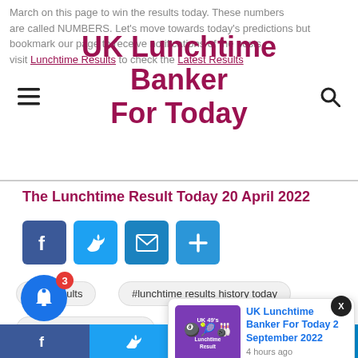UK Lunchtime Banker For Today
March on this page to win the results today. These numbers are called NUMBERS. Let's move towards today's predictions but bookmark our page to receive notifications of the posts. visit Lunchtime Results to check the Latest Results.
The Lunchtime Result Today 20 April 2022
[Figure (infographic): Social share buttons: Facebook (blue), Twitter (light blue), Email (blue), Add/Plus (blue)]
#49sresults
#lunchtime results history today
#uk 49 lunchtime results
[Figure (infographic): Notification popup showing a thumbnail with UK 49 Lunchtime Result in purple, and link text 'UK Lunchtime Banker For Today 2 September 2022', posted 4 hours ago]
[Figure (infographic): Bell notification icon with badge count 3 and bottom share bar with Facebook, Twitter, WhatsApp, Telegram icons]